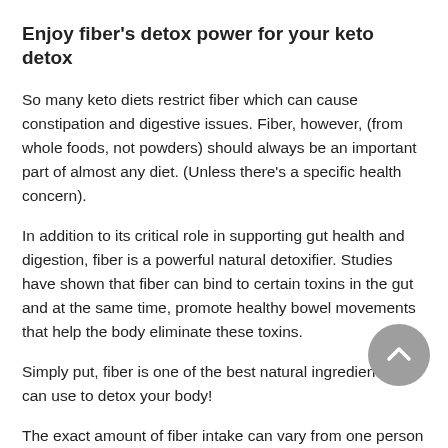Enjoy fiber's detox power for your keto detox
So many keto diets restrict fiber which can cause constipation and digestive issues. Fiber, however, (from whole foods, not powders) should always be an important part of almost any diet. (Unless there's a specific health concern).
In addition to its critical role in supporting gut health and digestion, fiber is a powerful natural detoxifier. Studies have shown that fiber can bind to certain toxins in the gut and at the same time, promote healthy bowel movements that help the body eliminate these toxins.
Simply put, fiber is one of the best natural ingredients you can use to detox your body!
The exact amount of fiber intake can vary from one person to another.